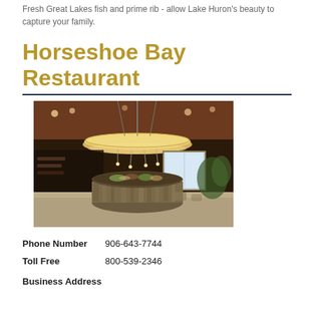Fresh Great Lakes fish and prime rib - allow Lake Huron's beauty to capture your family.
Horseshoe Bay Restaurant
[Figure (photo): Interior of Horseshoe Bay Restaurant showing a circular stone buffet bar with a large round pendant light fixture hanging from a wood-paneled ceiling, restaurant dining area visible in background]
Phone Number  906-643-7744
Toll Free  800-539-2346
Business Address